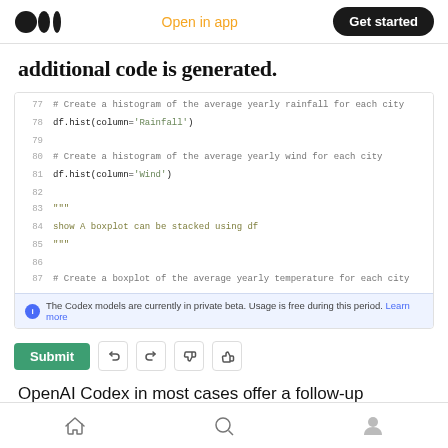Open in app | Get started
additional code is generated.
[Figure (screenshot): Code editor screenshot showing Python code lines 77-87 with comments about creating histograms and boxplots using df.hist() and df.hist(column='Wind'), with a docstring about showing a stacked boxplot using df, and an info bar stating 'The Codex models are currently in private beta. Usage is free during this period. Learn more']
Submit (button row with undo, redo, thumbs down, thumbs up icons)
OpenAI Codex in most cases offer a follow-up question and a description of the result. In an sense ending with a proposed
Home | Search | Profile (navigation icons)